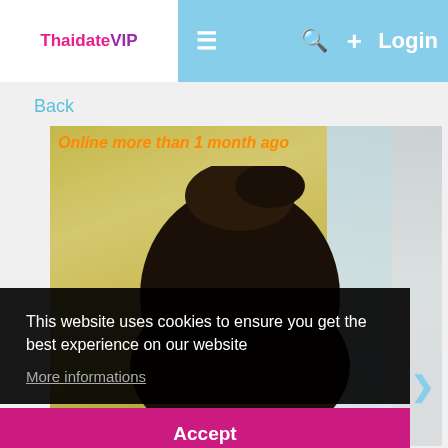ThaidateVIP — Login
Back
[Figure (photo): Profile photo of a person with dark hair pulled up, taken indoors with a yellow ceiling and window with curtain visible. Text overlay: 'Online more than 1 month ago']
This website uses cookies to ensure you get the best experience on our website
More informations
Accept